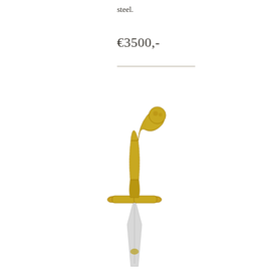steel.
€3500,-
[Figure (photo): A decorative dagger or short sword with an ornate gilded/brass handle featuring a curved pistol-grip style pommel and cross-guard. The handle is richly decorated with intricate engraved patterns. The blade is steel, tapering downward out of frame.]